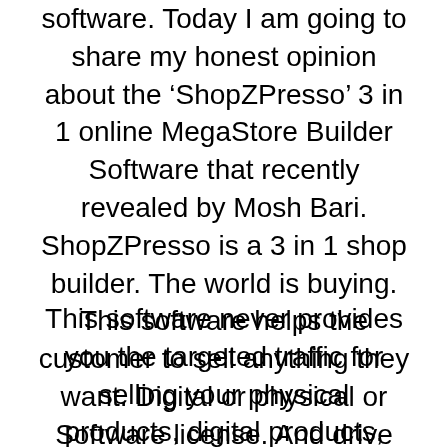software. Today I am going to share my honest opinion about the ‘ShopZPresso’ 3 in 1 online MegaStore Builder Software that recently revealed by Mosh Bari. ShopZPresso is a 3 in 1 shop builder. The world is buying. This software helps the customer to sell anything they want. Digital or physical or Software license. And drive free buyer traffic from running their own affiliate program
This software never provides you the targeted traffic for selling your physical products, digital products, and software. This is the main fault of this software and a lot of